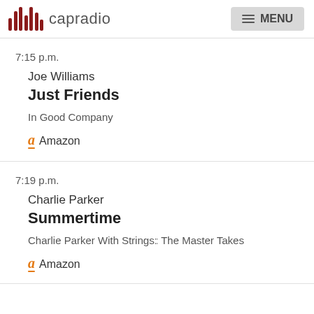capradio  MENU
7:15 p.m.
Joe Williams
Just Friends
In Good Company
Amazon
7:19 p.m.
Charlie Parker
Summertime
Charlie Parker With Strings: The Master Takes
Amazon